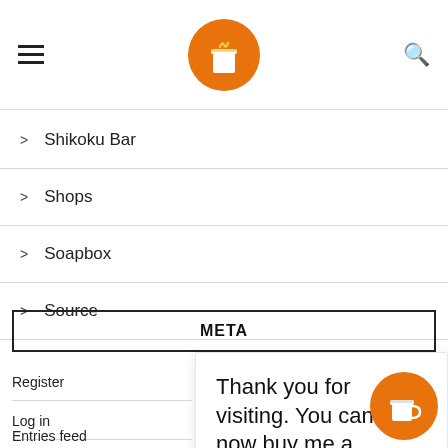Navigation header with hamburger menu, coffee logo, and search icon
> Shikoku Bar
> Shops
> Soapbox
> Source
META
Register
Log in
Thank you for visiting. You can now buy me a coffee!
Entries feed